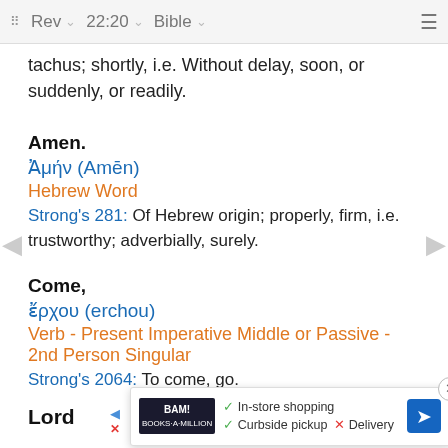Rev  22:20  Bible
tachus; shortly, i.e. Without delay, soon, or suddenly, or readily.
Amen.
Ἀμήν (Amēn)
Hebrew Word
Strong's 281: Of Hebrew origin; properly, firm, i.e. trustworthy; adverbially, surely.
Come,
ἔρχου (erchou)
Verb - Present Imperative Middle or Passive - 2nd Person Singular
Strong's 2064: To come, go.
Lord